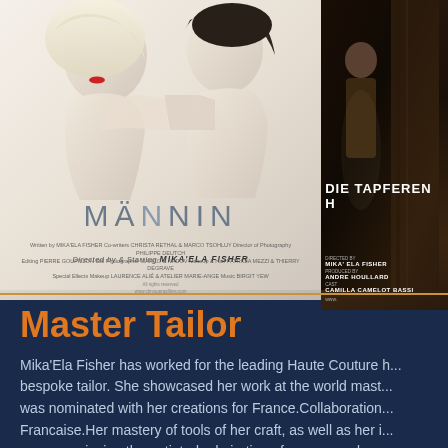[Figure (photo): Two film posters side by side. Left poster: 'MÄNNIN' directed by and starring Mika'Ela Fisher, showing two women back to back, one blonde with red lips, one dark-haired. Right poster: 'DIE TAPFEREN H...' also directed by Mika'Ela Fisher, dark background with person standing.]
Master Tailor
Mika'Ela Fisher has worked for the leading Haute Couture h... bespoke tailor. She showcased her work at the world mast... was nominated with her creations for France.Collaboration... Francaise.Her mastery of tools of her craft, as well as her i... names, enjoying the untinted admiration of women and m...